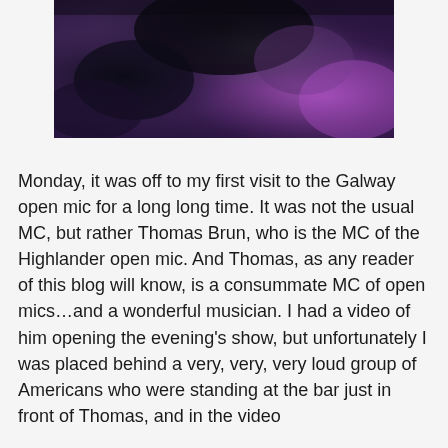[Figure (photo): Close-up photo showing dark purple and grey tones, appears to be a blurred or abstract image with dark shadowy shapes against a purple background.]
Monday, it was off to my first visit to the Galway open mic for a long long time. It was not the usual MC, but rather Thomas Brun, who is the MC of the Highlander open mic. And Thomas, as any reader of this blog will know, is a consummate MC of open mics…and a wonderful musician. I had a video of him opening the evening's show, but unfortunately I was placed behind a very, very, very loud group of Americans who were standing at the bar just in front of Thomas, and in the video